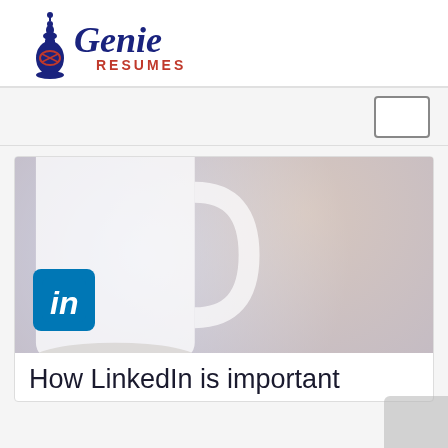[Figure (logo): Genie Resumes logo with genie bottle icon and cursive 'Genie' text above 'RESUMES' in red]
[Figure (other): Navigation bar with a square/rectangle button on the right side]
[Figure (other): Article banner image showing a coffee mug with LinkedIn logo and bold text overlay reading: HOW LINKEDIN IS IMPORTANT TO FIND A JOB: 6 REASONS FOR YOU TO MAINTAIN YOUR PROFILE]
How LinkedIn is important